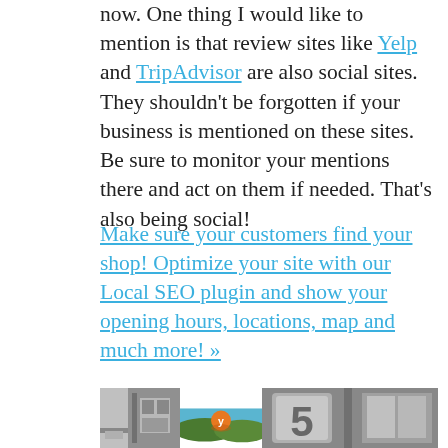now. One thing I would like to mention is that review sites like Yelp and TripAdvisor are also social sites. They shouldn't be forgotten if your business is mentioned on these sites. Be sure to monitor your mentions there and act on them if needed. That's also being social!
Make sure your customers find your shop! Optimize your site with our Local SEO plugin and show your opening hours, locations, map and much more! »
[Figure (photo): Three images side by side: a grayscale photo of a building/door on the left, a Yelp logo illustration (orange circle with white 'y' on blue-sky green-hills background) in the center, and a grayscale photo of a metal number '5' sign on the right.]